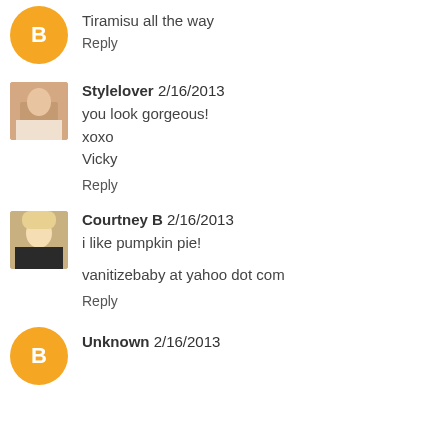[Figure (illustration): Blogger avatar icon - orange circle with white B letter]
Tiramisu all the way
Reply
[Figure (photo): Profile photo of Stylelover user]
Stylelover 2/16/2013
you look gorgeous!
xoxo
Vicky
Reply
[Figure (photo): Profile photo of Courtney B user]
Courtney B 2/16/2013
i like pumpkin pie!
vanitizebaby at yahoo dot com
Reply
[Figure (illustration): Blogger avatar icon - orange circle with white B letter]
Unknown 2/16/2013